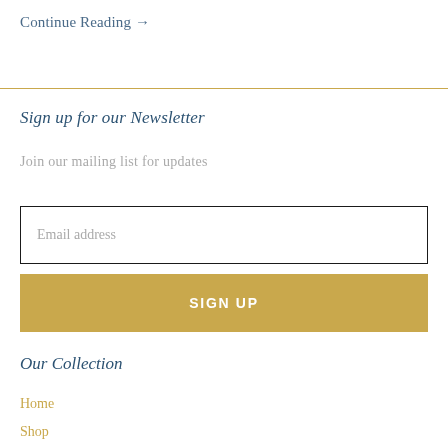Continue Reading →
Sign up for our Newsletter
Join our mailing list for updates
Email address
SIGN UP
Our Collection
Home
Shop